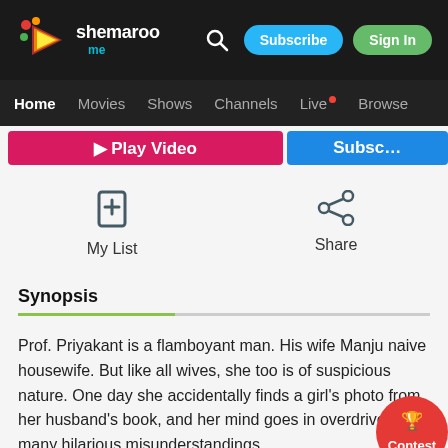shemaroo me — Subscribe | Sign In
Home  Movies  Shows  Channels  Live  Browse
[Figure (screenshot): Partially visible Play Video and Subscribe buttons]
[Figure (infographic): My List (bookmark icon) and Share (share icon) action buttons]
Synopsis
Prof. Priyakant is a flamboyant man. His wife Manju naive housewife. But like all wives, she too is of suspicious nature. One day she accidentally finds a girl's photo from her husband's book, and her mind goes in overdrive. After many hilarious misunderstandings,